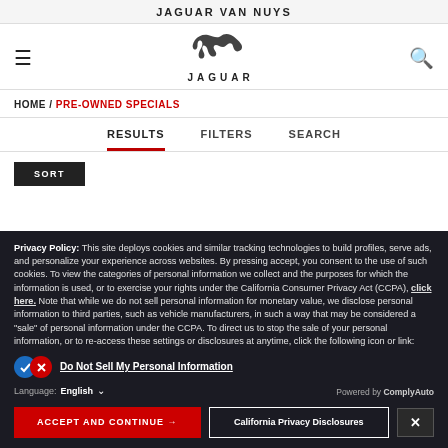JAGUAR VAN NUYS
[Figure (logo): Jaguar leaping cat logo with JAGUAR wordmark below]
HOME / PRE-OWNED SPECIALS
RESULTS   FILTERS   SEARCH
SORT
Privacy Policy: This site deploys cookies and similar tracking technologies to build profiles, serve ads, and personalize your experience across websites. By pressing accept, you consent to the use of such cookies. To view the categories of personal information we collect and the purposes for which the information is used, or to exercise your rights under the California Consumer Privacy Act (CCPA), click here. Note that while we do not sell personal information for monetary value, we disclose personal information to third parties, such as vehicle manufacturers, in such a way that may be considered a "sale" of personal information under the CCPA. To direct us to stop the sale of your personal information, or to re-access these settings or disclosures at anytime, click the following icon or link:
Do Not Sell My Personal Information
Language: English
Powered by ComplyAuto
ACCEPT AND CONTINUE →   California Privacy Disclosures   ✕